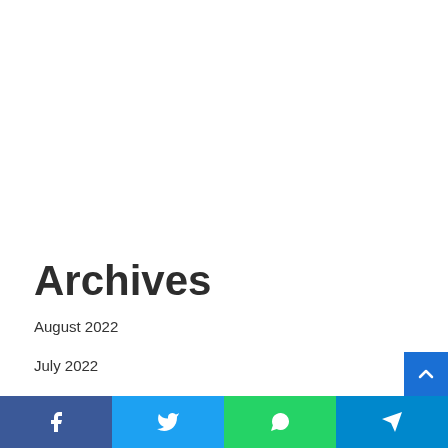Archives
August 2022
July 2022
June 2022
May 2022